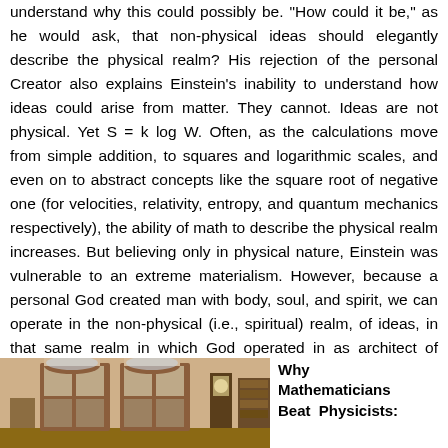understand why this could possibly be. "How could it be," as he would ask, that non-physical ideas should elegantly describe the physical realm? His rejection of the personal Creator also explains Einstein's inability to understand how ideas could arise from matter. They cannot. Ideas are not physical. Yet S = k log W. Often, as the calculations move from simple addition, to squares and logarithmic scales, and even on to abstract concepts like the square root of negative one (for velocities, relativity, entropy, and quantum mechanics respectively), the ability of math to describe the physical realm increases. But believing only in physical nature, Einstein was vulnerable to an extreme materialism. However, because a personal God created man with body, soul, and spirit, we can operate in the non-physical (i.e., spiritual) realm, of ideas, in that same realm in which God operated in as architect of creation.
[Figure (photo): Interior room photo showing wooden doors with glass panes, a grandfather clock, and furniture in a warm-toned room]
Why Mathematicians Beat Physicists: